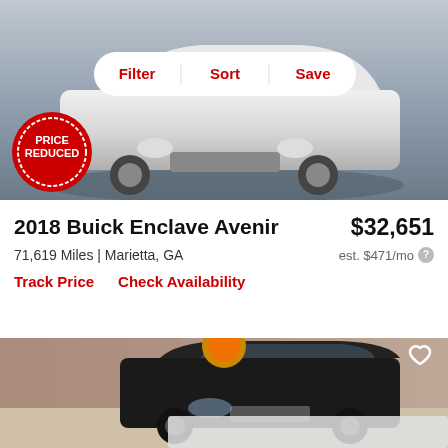[Figure (photo): White Buick SUV from front angle, gray background, with 'Price Reduced' red circular badge overlay and Filter/Sort/Save toolbar]
2018 Buick Enclave Avenir
$32,651
71,619 Miles | Marietta, GA
est. $471/mo
Track Price    Check Availability
[Figure (photo): Black Buick Enclave SUV parked indoors in a showroom with brick walls, viewed from front-left angle]